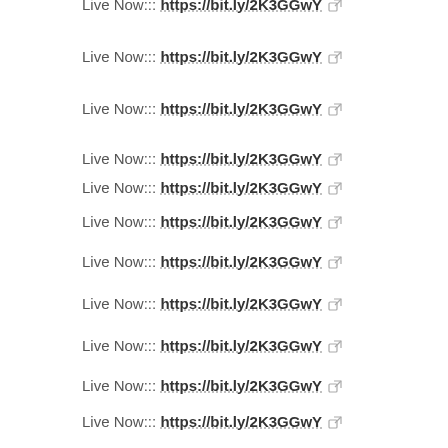Live Now::: https://bit.ly/2K3GGwY
Live Now::: https://bit.ly/2K3GGwY
Live Now::: https://bit.ly/2K3GGwY
Live Now::: https://bit.ly/2K3GGwY
Live Now::: https://bit.ly/2K3GGwY
Live Now::: https://bit.ly/2K3GGwY
Live Now::: https://bit.ly/2K3GGwY
Live Now::: https://bit.ly/2K3GGwY
Live Now::: https://bit.ly/2K3GGwY
Live Now::: https://bit.ly/2K3GGwY
Live Now::: https://bit.ly/2K3GGwY
Live Now::: https://bit.ly/2K3GGwY
Live Now::: https://bit.ly/2K3GGwY